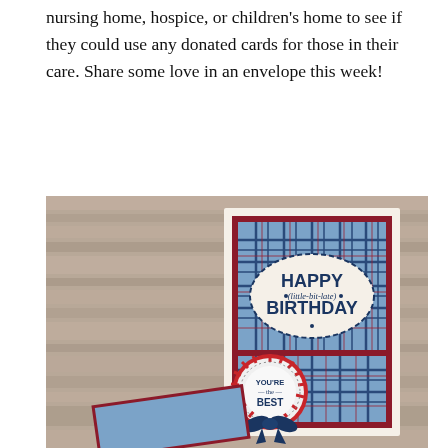nursing home, hospice, or children's home to see if they could use any donated cards for those in their care. Share some love in an envelope this week!
[Figure (photo): A handmade birthday card propped against a wooden background. The card features blue and red plaid patterned paper on a dark red/maroon mat layer over a cream base. An oval scalloped-edge label in the center reads 'HAPPY (little-bit-late) BIRTHDAY' in navy and script text. In the lower left corner is a decorative rosette medallion with red and white stripes and a circular center reading 'YOU'RE the BEST' in navy, with a navy blue ribbon bow attached below.]